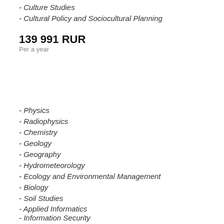- Culture Studies
- Cultural Policy and Sociocultural Planning
139 991 RUR
Per a year
- Physics
- Radiophysics
- Chemistry
- Geology
- Geography
- Hydrometeorology
- Ecology and Environmental Management
- Biology
- Soil Studies
- Applied Informatics
- Information Security
- Electronics & Nanoelectronics